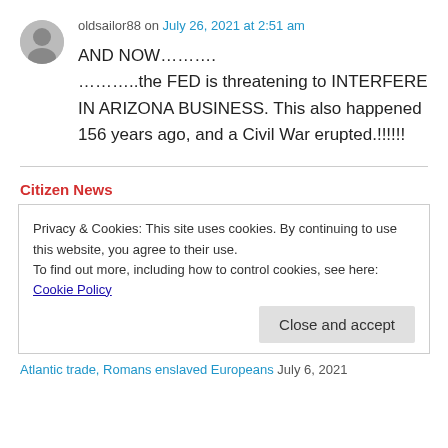oldsailor88 on July 26, 2021 at 2:51 am
AND NOW……….
………..the FED is threatening to INTERFERE IN ARIZONA BUSINESS. This also happened 156 years ago, and a Civil War erupted.!!!!!!
Citizen News
Privacy & Cookies: This site uses cookies. By continuing to use this website, you agree to their use.
To find out more, including how to control cookies, see here: Cookie Policy
Close and accept
Atlantic trade, Romans enslaved Europeans July 6, 2021